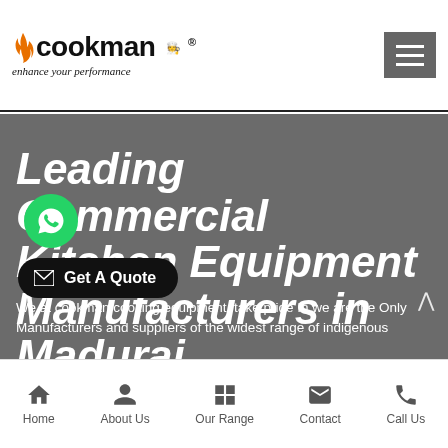cookman® — enhance your performance
Leading Commercial Kitchen Equipment Manufacturers in Madurai
We at cookman cooking equipment, take pride In we are the Only Manufacturers and suppliers of the widest range of indigenous
Home | About Us | Our Range | Contact | Call Us